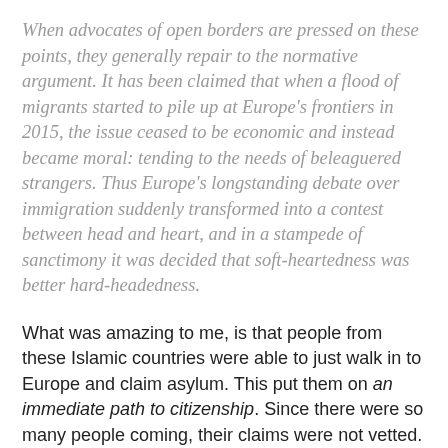When advocates of open borders are pressed on these points, they generally repair to the normative argument. It has been claimed that when a flood of migrants started to pile up at Europe's frontiers in 2015, the issue ceased to be economic and instead became moral: tending to the needs of beleaguered strangers. Thus Europe's longstanding debate over immigration suddenly transformed into a contest between head and heart, and in a stampede of sanctimony it was decided that soft-heartedness was better hard-headedness.
What was amazing to me, is that people from these Islamic countries were able to just walk in to Europe and claim asylum. This put them on an immediate path to citizenship. Since there were so many people coming, their claims were not vetted. The immigrants would